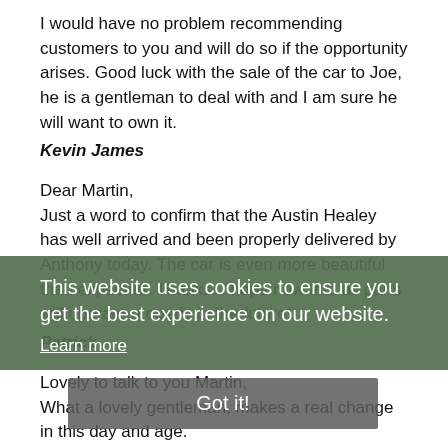I would have no problem recommending customers to you and will do so if the opportunity arises. Good luck with the sale of the car to Joe, he is a gentleman to deal with and I am sure he will want to own it.
Kevin James
Dear Martin,
Just a word to confirm that the Austin Healey has well arrived and been properly delivered by Anthony today. The car is even more beautiful than expected. Thanks. I hope now that all parts will operate properly in the future!
Patrick
This website uses cookies to ensure you get the best experience on our website.
Learn more
Lovely to talk to you Martin,
What a lovely gentleman, makes a real change in this day and age.
Would you be kind enough to send more pics front on...
Got it!